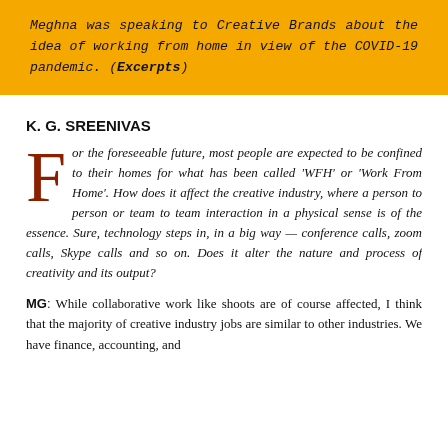Meghna was speaking to Creative Brands about the idea of working from home in view of the COVID-19 pandemic. (Excerpts)
K. G. SREENIVAS
For the foreseeable future, most people are expected to be confined to their homes for what has been called 'WFH' or 'Work From Home'. How does it affect the creative industry, where a person to person or team to team interaction in a physical sense is of the essence. Sure, technology steps in, in a big way — conference calls, zoom calls, Skype calls and so on. Does it alter the nature and process of creativity and its output?
MG: While collaborative work like shoots are of course affected, I think that the majority of creative industry jobs are similar to other industries. We have finance, accounting, and